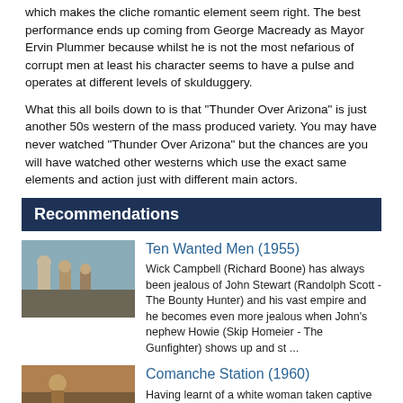which makes the cliche romantic element seem right. The best performance ends up coming from George Macready as Mayor Ervin Plummer because whilst he is not the most nefarious of corrupt men at least his character seems to have a pulse and operates at different levels of skulduggery.
What this all boils down to is that "Thunder Over Arizona" is just another 50s western of the mass produced variety. You may have never watched "Thunder Over Arizona" but the chances are you will have watched other westerns which use the exact same elements and action just with different main actors.
Recommendations
[Figure (photo): Movie still from Ten Wanted Men (1955) showing actors in western attire outdoors]
Ten Wanted Men (1955)
Wick Campbell (Richard Boone) has always been jealous of John Stewart (Randolph Scott - The Bounty Hunter) and his vast empire and he becomes even more jealous when John's nephew Howie (Skip Homeier - The Gunfighter) shows up and st ...
[Figure (photo): Movie still from Comanche Station (1960) showing a person in western setting]
Comanche Station (1960)
Having learnt of a white woman taken captive